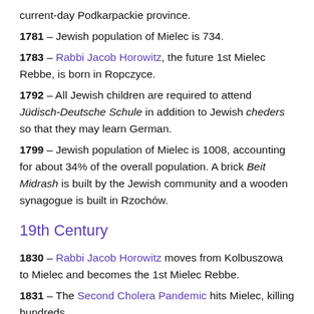current-day Podkarpackie province.
1781 – Jewish population of Mielec is 734.
1783 – Rabbi Jacob Horowitz, the future 1st Mielec Rebbe, is born in Ropczyce.
1792 – All Jewish children are required to attend Jüdisch-Deutsche Schule in addition to Jewish cheders so that they may learn German.
1799 – Jewish population of Mielec is 1008, accounting for about 34% of the overall population. A brick Beit Midrash is built by the Jewish community and a wooden synagogue is built in Rzochów.
19th Century
1830 – Rabbi Jacob Horowitz moves from Kolbuszowa to Mielec and becomes the 1st Mielec Rebbe.
1831 – The Second Cholera Pandemic hits Mielec, killing hundreds.